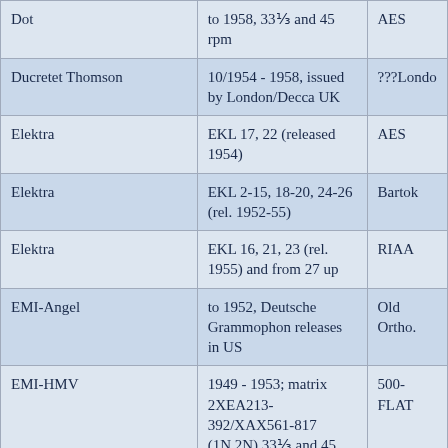| Dot | to 1958, 33⅓ and 45 rpm | AES |
| Ducretet Thomson | 10/1954 - 1958, issued by London/Decca UK | ???Londo |
| Elektra | EKL 17, 22 (released 1954) | AES |
| Elektra | EKL 2-15, 18-20, 24-26 (rel. 1952-55) | Bartok |
| Elektra | EKL 16, 21, 23 (rel. 1955) and from 27 up | RIAA |
| EMI-Angel | to 1952, Deutsche Grammophon releases in US | Old Ortho. |
| EMI-HMV | 1949 - 1953; matrix 2XEA213-392/XAX561-817 (1N,2N) 33⅓ and 45 rpm | 500-FLAT |
| EMI-HMV | 1951 - 1954 | NAB |
| EMI-HMV | 1954 - 1958? | Columbia |